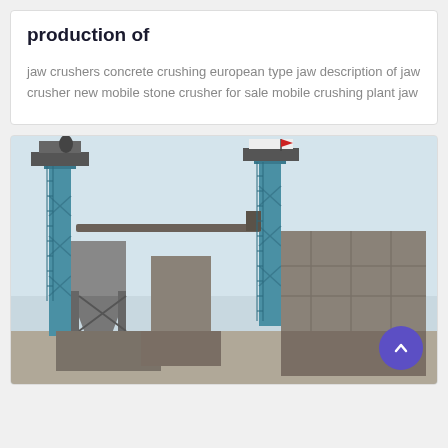production of
jaw crushers concrete crushing european type jaw description of jaw crusher new mobile stone crusher for sale mobile crushing plant jaw
[Figure (photo): Industrial crushing/screening plant with two tall blue elevator towers and large grey hopper/filter structures against a pale sky]